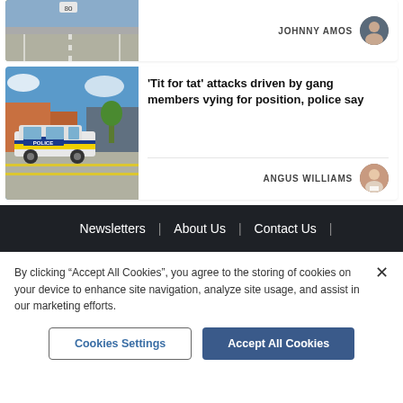[Figure (photo): Partial view of a road/street, top of article card]
JOHNNY AMOS
[Figure (photo): Police car at a road junction in daylight]
'Tit for tat' attacks driven by gang members vying for position, police say
ANGUS WILLIAMS
Newsletters | About Us | Contact Us |
By clicking "Accept All Cookies", you agree to the storing of cookies on your device to enhance site navigation, analyze site usage, and assist in our marketing efforts.
Cookies Settings
Accept All Cookies